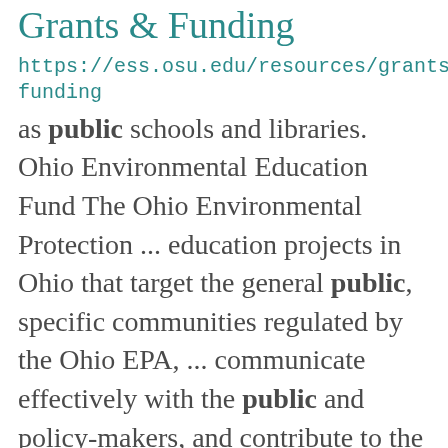Grants & Funding
https://ess.osu.edu/resources/grants-funding
as public schools and libraries. Ohio Environmental Education Fund The Ohio Environmental Protection ... education projects in Ohio that target the general public, specific communities regulated by the Ohio EPA, ... communicate effectively with the public and policy-makers, and contribute to the federal policymaking process. ...
Publications In Previous Years
https://ess.osu.edu/research/peer-reviewed-publications/previous-publications